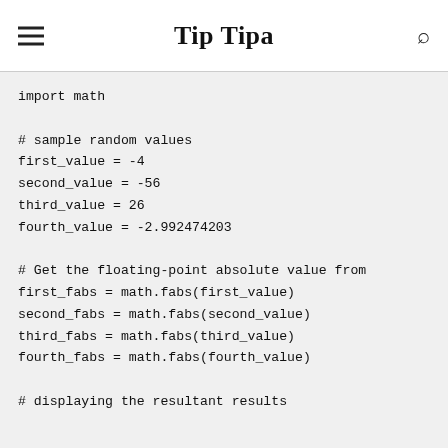Tip Tipa
import math

# sample random values
first_value = -4
second_value = -56
third_value = 26
fourth_value = -2.992474203

# Get the floating-point absolute value from
first_fabs = math.fabs(first_value)
second_fabs = math.fabs(second_value)
third_fabs = math.fabs(third_value)
fourth_fabs = math.fabs(fourth_value)

# displaying the resultant results